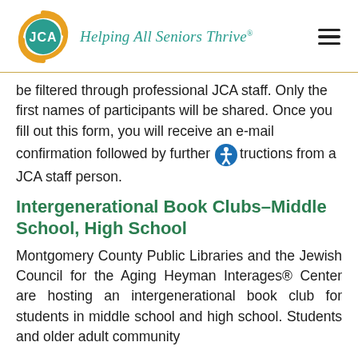[Figure (logo): JCA logo with golden circular swoosh and teal JCA text, tagline 'Helping All Seniors Thrive®']
be filtered through professional JCA staff. Only the first names of participants will be shared. Once you fill out this form, you will receive an e-mail confirmation followed by further instructions from a JCA staff person.
Intergenerational Book Clubs–Middle School, High School
Montgomery County Public Libraries and the Jewish Council for the Aging Heyman Interages® Center are hosting an intergenerational book club for students in middle school and high school. Students and older adult community